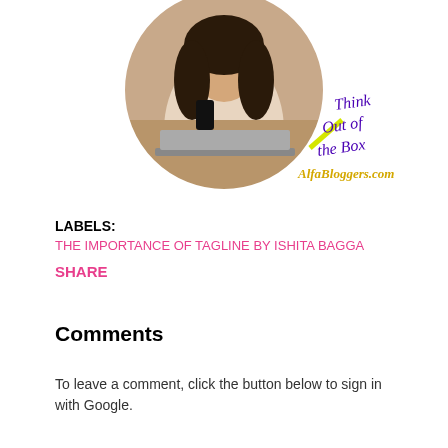[Figure (photo): A young woman smiling, holding a smartphone, with a laptop in front of her, sitting in a cafe setting. The image is cropped in a circle shape. To the right of the circle, handwritten-style purple text reads 'Think Out of the Box' and below it yellow text reads 'AlfaBloggers.com'. A yellow diagonal accent line appears near the bottom of the circle.]
LABELS:
THE IMPORTANCE OF TAGLINE BY ISHITA BAGGA
SHARE
Comments
To leave a comment, click the button below to sign in with Google.